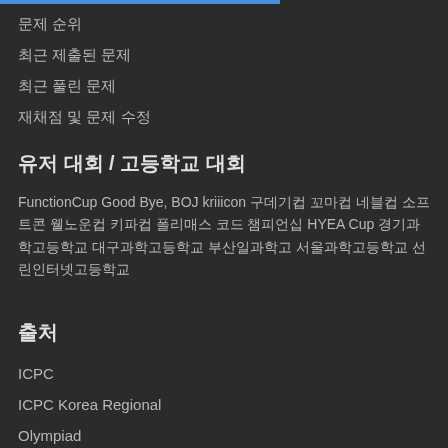문제 순위
최근 제출된 문제
최근 풀린 문제
재채점 및 문제 수정
유저 대회 / 고등학교 대회
FunctionCup Good Bye, BOJ kriiicon 구데기컵 꼬마컵 네블컵 소프트콘 웰노운컵 키파컵 폴리매스 코드 챔피언십 HYEA Cup 경기과학고등학교 대구과학고등학교 부산일과학고 서울과학고등학교 선린인터넷고등학교
출처
ICPC
ICPC Korea Regional
Olympiad
한국정보올림피아드
한국정보올림피아드시.도지역본선
카카오 코드 페스티벌
Coder's High
Open Cup
Petrozavodsk Programming Camp